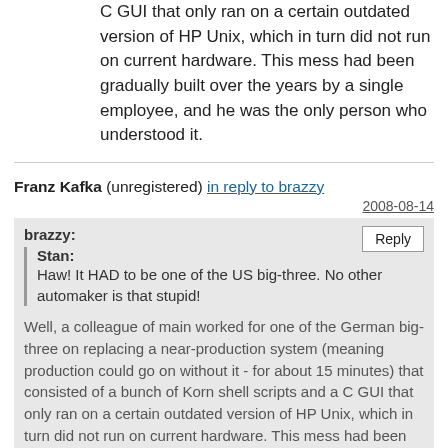C GUI that only ran on a certain outdated version of HP Unix, which in turn did not run on current hardware. This mess had been gradually built over the years by a single employee, and he was the only person who understood it.
Franz Kafka (unregistered) in reply to brazzy
2008-08-14
brazzy:
Stan: Haw! It HAD to be one of the US big-three. No other automaker is that stupid!
Well, a colleague of main worked for one of the German big-three on replacing a near-production system (meaning production could go on without it - for about 15 minutes) that consisted of a bunch of Korn shell scripts and a C GUI that only ran on a certain outdated version of HP Unix, which in turn did not run on current hardware. This mess had been gradually built over the years by a single employee, and he was the only person who